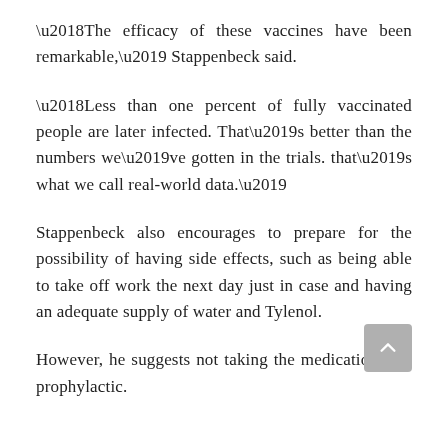‘The efficacy of these vaccines have been remarkable,’ Stappenbeck said.
‘Less than one percent of fully vaccinated people are later infected. That’s better than the numbers we’ve gotten in the trials. that’s what we call real-world data.’
Stappenbeck also encourages to prepare for the possibility of having side effects, such as being able to take off work the next day just in case and having an adequate supply of water and Tylenol.
However, he suggests not taking the medication as a prophylactic.